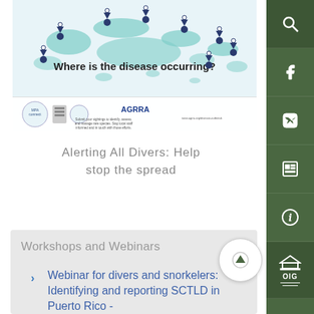[Figure (map): Map showing disease occurrence locations with pin markers over Caribbean islands. Includes MPA Connect, AGRRA logos and partner logos at bottom. Title reads 'Where is the disease occurring?']
Alerting All Divers: Help stop the spread
Workshops and Webinars
Webinar for divers and snorkelers: Identifying and reporting SCTLD in Puerto Rico -